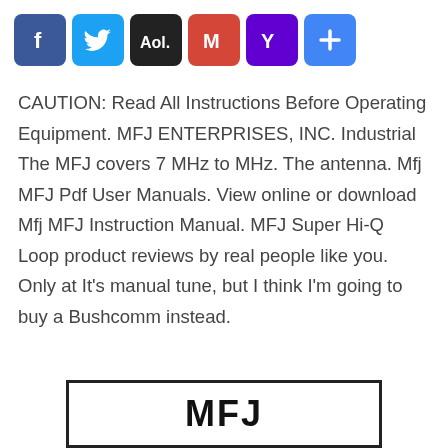[Figure (other): Social media sharing icons: Facebook, Twitter, AOL, Gmail, Yahoo, Plus]
CAUTION: Read All Instructions Before Operating Equipment. MFJ ENTERPRISES, INC. Industrial The MFJ covers 7 MHz to MHz. The antenna. Mfj MFJ Pdf User Manuals. View online or download Mfj MFJ Instruction Manual. MFJ Super Hi-Q Loop product reviews by real people like you. Only at It's manual tune, but I think I'm going to buy a Bushcomm instead.
[Figure (logo): MFJ logo in bold black text inside a bordered rectangle]